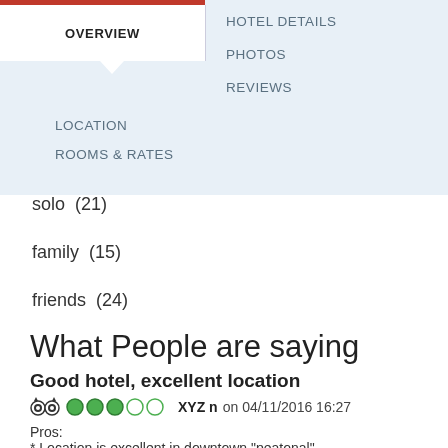OVERVIEW | HOTEL DETAILS | PHOTOS | LOCATION | REVIEWS | ROOMS & RATES
solo  (21)
family  (15)
friends  (24)
What People are saying
Good hotel, excellent location
XYZ n  on 04/11/2016 16:27
Pros:
* Location is excellent in downtown "peatonal"